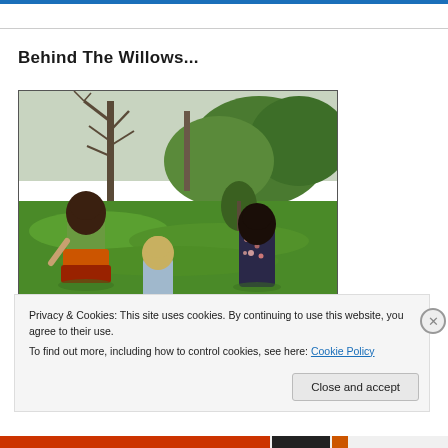Behind The Willows...
[Figure (photo): Three young girls viewed from behind standing in a lush green meadow with willow and other trees in the background. The girl on the left wears a green and orange layered skirt, the middle child is smaller and wears a light blue striped outfit, and the girl on the right wears a dark floral sleeveless top.]
Privacy & Cookies: This site uses cookies. By continuing to use this website, you agree to their use.
To find out more, including how to control cookies, see here: Cookie Policy
Close and accept